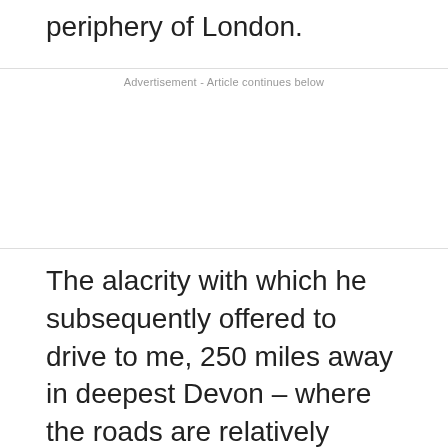periphery of London.
Advertisement - Article continues below
The alacrity with which he subsequently offered to drive to me, 250 miles away in deepest Devon – where the roads are relatively empty and far more